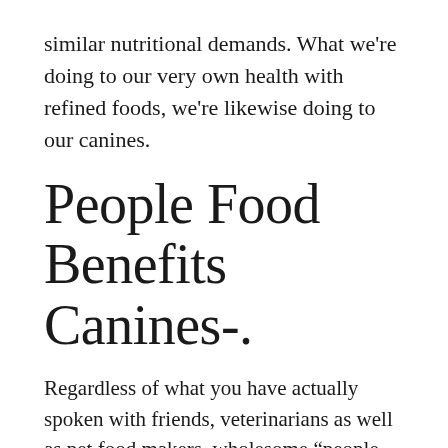similar nutritional demands. What we're doing to our very own health with refined foods, we're likewise doing to our canines.
People Food Benefits Canines-.
Regardless of what you have actually spoken with friends, veterinarians as well as pet food makers, wholesome “people food” benefits canines. Supposed people food or human food os actually just “food” … and also the only people it's bad for are pet dog food manufacturers. The exact same fresh, nutritious foods you consume can supply